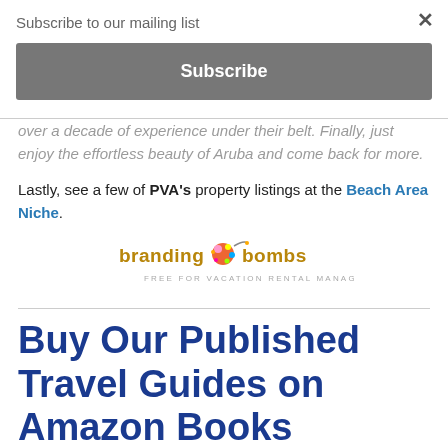Subscribe to our mailing list
Subscribe
over a decade of experience under their belt. Finally, just enjoy the effortless beauty of Aruba and come back for more.
Lastly, see a few of PVA's property listings at the Beach Area Niche.
[Figure (logo): Branding Bombs logo — 'branding bombs' text in gold/brown with a colorful bomb graphic. Subtitle: FREE FOR VACATION RENTAL MANAGERS]
Buy Our Published Travel Guides on Amazon Books